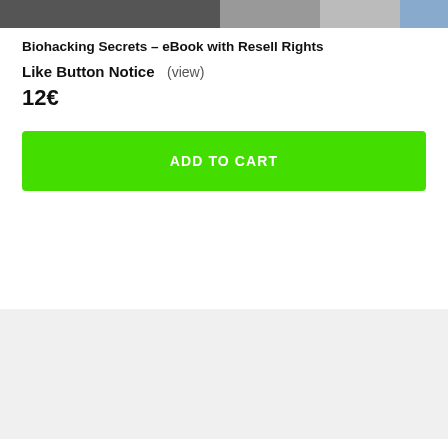[Figure (photo): Partial product image banner at the top of the page]
Biohacking Secrets – eBook with Resell Rights
Like Button Notice   (view)
12€
ADD TO CART